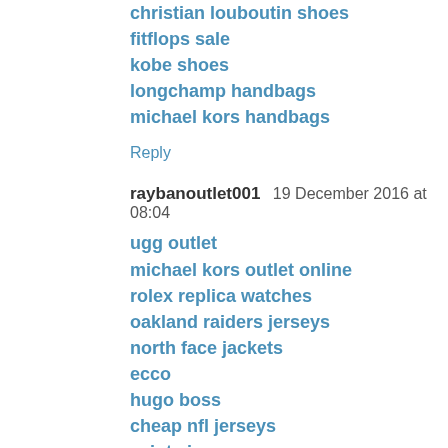christian louboutin shoes
fitflops sale
kobe shoes
longchamp handbags
michael kors handbags
Reply
raybanoutlet001  19 December 2016 at 08:04
ugg outlet
michael kors outlet online
rolex replica watches
oakland raiders jerseys
north face jackets
ecco
hugo boss
cheap nfl jerseys
saints jerseys
michael kors outlet clearance
Reply